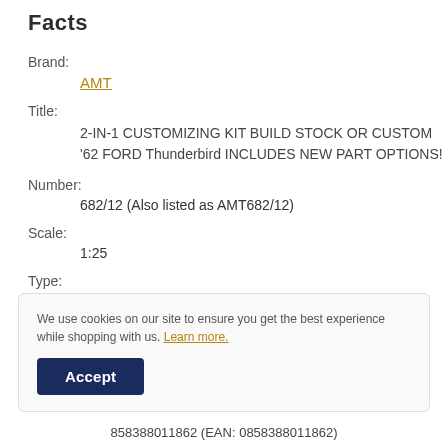Facts
Brand:
AMT
Title:
2-IN-1 CUSTOMIZING KIT BUILD STOCK OR CUSTOM '62 FORD Thunderbird INCLUDES NEW PART OPTIONS!
Number:
682/12 (Also listed as AMT682/12)
Scale:
1:25
Type:
We use cookies on our site to ensure you get the best experience while shopping with us. Learn more.
Accept
858388011862 (EAN: 0858388011862)